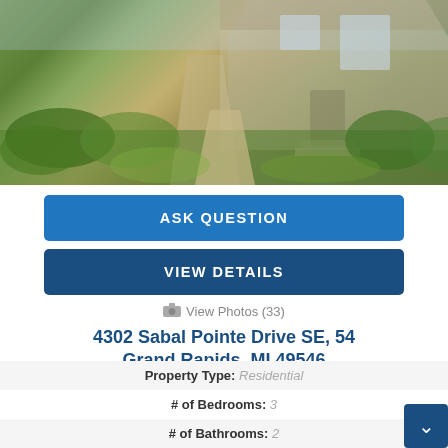[Figure (photo): Exterior photo of residential home with landscaped front yard, walkway, and green bushes]
ASK QUESTION
VIEW DETAILS
View Photos (33)
4302 Sabal Pointe Drive SE, 54
Grand Rapids, MI 49546
$439,900
| Property | Value |
| --- | --- |
| Property Type: | Residential |
| # of Bedrooms: | 3 |
| # of Bathrooms: | 2 |